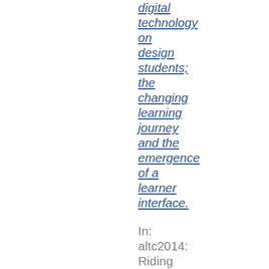digital technology on design students; the changing learning journey and the emergence of a learner interface.
In: altc2014: Riding Giants: How to innovate and